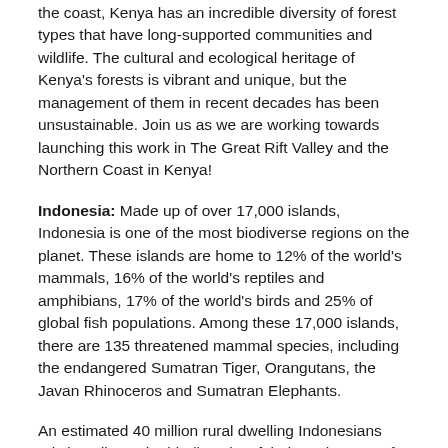the coast, Kenya has an incredible diversity of forest types that have long-supported communities and wildlife. The cultural and ecological heritage of Kenya's forests is vibrant and unique, but the management of them in recent decades has been unsustainable. Join us as we are working towards launching this work in The Great Rift Valley and the Northern Coast in Kenya!
Indonesia: Made up of over 17,000 islands, Indonesia is one of the most biodiverse regions on the planet. These islands are home to 12% of the world's mammals, 16% of the world's reptiles and amphibians, 17% of the world's birds and 25% of global fish populations. Among these 17,000 islands, there are 135 threatened mammal species, including the endangered Sumatran Tiger, Orangutans, the Javan Rhinoceros and Sumatran Elephants.
An estimated 40 million rural dwelling Indonesians rely heavily on the biodiversity of their environment for subsistence needs. Traditional fishermen rely on the wetland ecosystems all around the islands, including mangroves, coral reefs and sea grass for their livelihood. In the last 3 decades, Indonesia has lost over 40% of its mangrove forests, affecting not only the environment and the species that rely